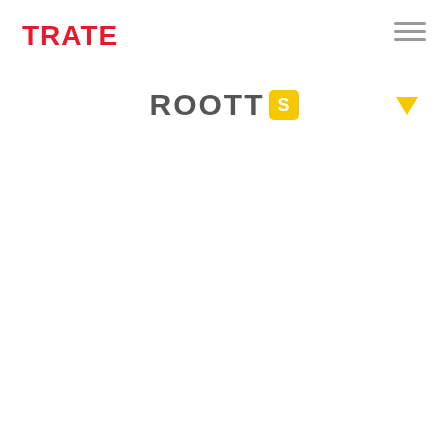[Figure (logo): TRATE logo in bold red text top left]
[Figure (illustration): Hamburger menu icon (three horizontal grey lines) top right]
ROOTT S
[Figure (illustration): Yellow downward-pointing triangle icon to the right of center]